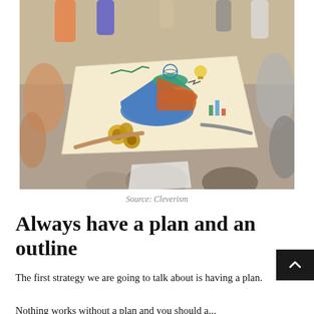[Figure (photo): Overhead view of a group of people sitting in a circle around a large paper/poster showing business planning icons including a pie chart, line chart, gears, lightbulb, globe, and bar charts drawn in a hand-drawn style.]
Source: Cleverism
Always have a plan and an outline
The first strategy we are going to talk about is having a plan.
Nothing works without a plan and you should a...